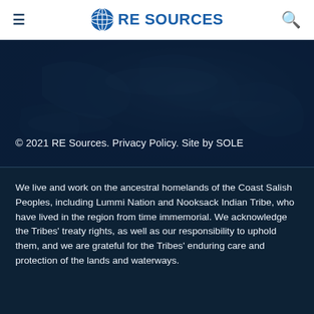≡   RE SOURCES   🔍
[Figure (screenshot): Dark blue banner with faint satellite/earth map texture overlay]
© 2021 RE Sources. Privacy Policy. Site by SOLE
We live and work on the ancestral homelands of the Coast Salish Peoples, including Lummi Nation and Nooksack Indian Tribe, who have lived in the region from time immemorial. We acknowledge the Tribes' treaty rights, as well as our responsibility to uphold them, and we are grateful for the Tribes' enduring care and protection of the lands and waterways.